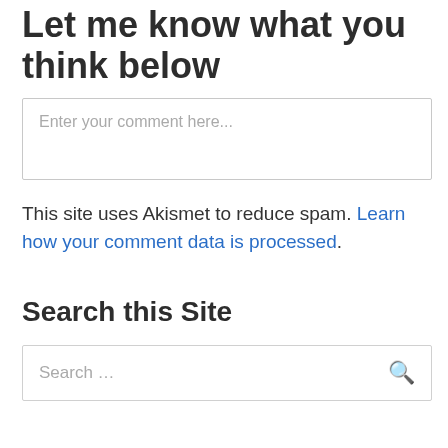Let me know what you think below
Enter your comment here...
This site uses Akismet to reduce spam. Learn how your comment data is processed.
Search this Site
Search …